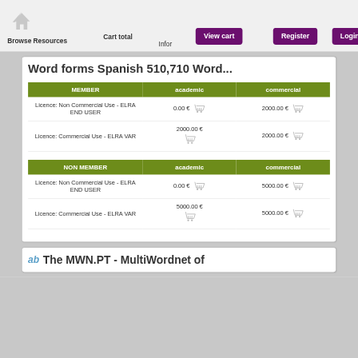Browse Resources  Cart total  Infor  View cart  Register  Login
Word forms Spanish 510,710 Word...
| MEMBER | academic | commercial |
| --- | --- | --- |
| Licence: Non Commercial Use - ELRA END USER | 0.00 € | 2000.00 € |
| Licence: Commercial Use - ELRA VAR | 2000.00 € | 2000.00 € |
| NON MEMBER | academic | commercial |
| --- | --- | --- |
| Licence: Non Commercial Use - ELRA END USER | 0.00 € | 5000.00 € |
| Licence: Commercial Use - ELRA VAR | 5000.00 € | 5000.00 € |
The MWN.PT - MultiWordnet of